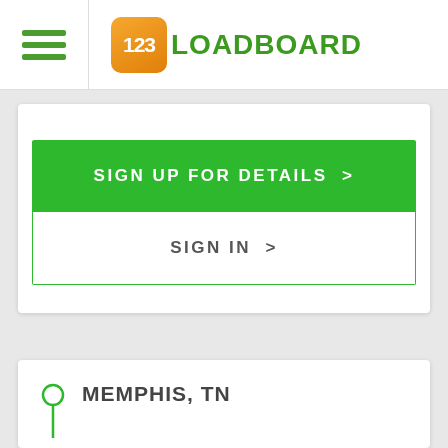[Figure (logo): 123Loadboard logo with orange rounded square containing '123' and green text 'LOADBOARD']
SIGN UP FOR DETAILS >
SIGN IN >
MEMPHIS, TN